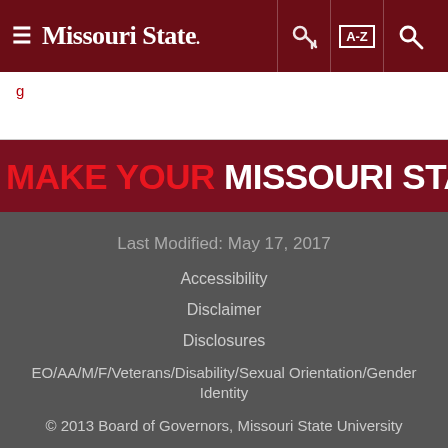Missouri State. [hamburger menu, key icon, A-Z icon, search icon]
[navigation link - partial]
[Figure (illustration): Missouri State University 'Make Your Missouri Statement' banner. Red background with large bold text: 'MAKE YOUR' in red, 'MISSOURI STATE' in white, 'MENT' in red.]
Last Modified: May 17, 2017
Accessibility
Disclaimer
Disclosures
EO/AA/M/F/Veterans/Disability/Sexual Orientation/Gender Identity
© 2013 Board of Governors, Missouri State University
Contact Information